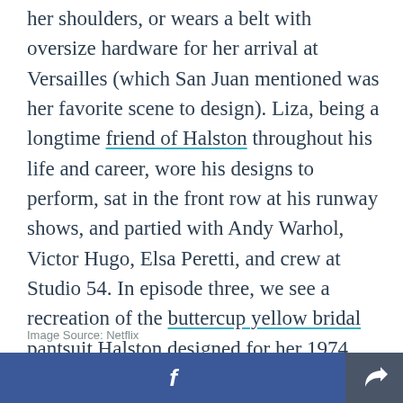her shoulders, or wears a belt with oversize hardware for her arrival at Versailles (which San Juan mentioned was her favorite scene to design). Liza, being a longtime friend of Halston throughout his life and career, wore his designs to perform, sat in the front row at his runway shows, and partied with Andy Warhol, Victor Hugo, Elsa Peretti, and crew at Studio 54. In episode three, we see a recreation of the buttercup yellow bridal pantsuit Halston designed for her 1974 wedding to Jack Haley Jr.
Image Source: Netflix
Facebook share | Share